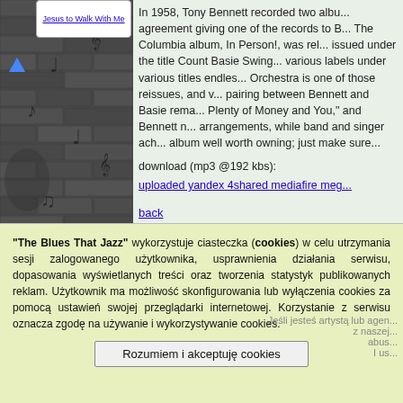[Figure (illustration): Dark brick wall background with music notes (treble clefs) scattered across it, in grayscale. Overlaid with semi-transparent guitar/instrument silhouettes.]
Jesus to Walk With Me (link/button, truncated)
In 1958, Tony Bennett recorded two albu... agreement giving one of the records to B... The Columbia album, In Person!, was rel... issued under the title Count Basie Swing... various labels under various titles endles... Orchestra is one of those reissues, and v... pairing between Bennett and Basie rema... Plenty of Money and You," and Bennett n... arrangements, while band and singer ach... album well worth owning; just make sure...
download (mp3 @192 kbs):
uploaded yandex 4shared mediafire meg...
back
Zmieniony (P...
"The Blues That Jazz" wykorzystuje ciasteczka (cookies) w celu utrzymania sesji zalogowanego użytkownika, usprawnienia działania serwisu, dopasowania wyświetlanych treści oraz tworzenia statystyk publikowanych reklam. Użytkownik ma możliwość skonfigurowania lub wyłączenia cookies za pomocą ustawień swojej przeglądarki internetowej. Korzystanie z serwisu oznacza zgodę na używanie i wykorzystywanie cookies.
Rozumiem i akceptuję cookies